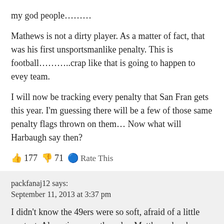my god people………
Mathews is not a dirty player. As a matter of fact, that was his first unsportsmanlike penalty. This is football………..crap like that is going to happen to evey team.
I will now be tracking every penalty that San Fran gets this year. I'm guessing there will be a few of those same penalty flags thrown on them… Now what will Harbaugh say then?
👍 177 👎 71 ℹ️ Rate This
packfanaj12 says:
September 11, 2013 at 3:37 pm
I didn't know the 49ers were so soft, afraid of a little contact. Also, give one other play Matthews has been "dirty", if you can't think of one, its because he is not a dirty player. Was it a wise it… probably not, but this is football, and he was a rusher at the moment, I don't think it was a dirty hit. People try to